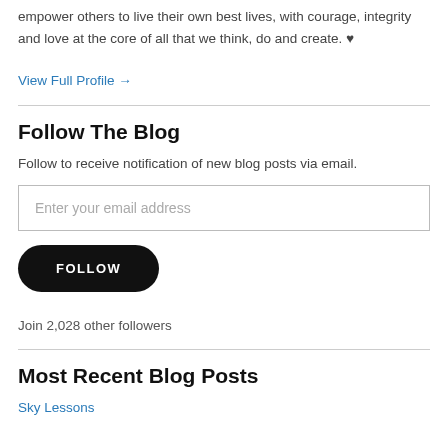empower others to live their own best lives, with courage, integrity and love at the core of all that we think, do and create. ♥
View Full Profile →
Follow The Blog
Follow to receive notification of new blog posts via email.
Enter your email address
FOLLOW
Join 2,028 other followers
Most Recent Blog Posts
Sky Lessons